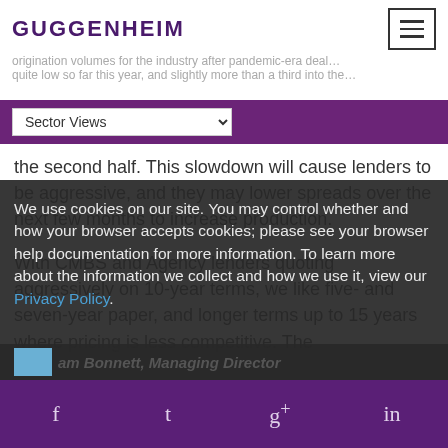GUGGENHEIM
origination volumes for the industry after pandemic-era deal…quite low so far this year, and slightly more than a third into the…
Sector Views
the second half. This slowdown will cause lenders to be aggressive, and they may lower spreads over the next few months to increase production.
With CMBS and Agency lenders quoting aggressively on 10-year terms, we like five- and seven-year paper, and longer terms up to 15 years where pricing is less competitive. The
We use cookies on our site. You may control whether and how your browser accepts cookies; please see your browser help documentation for more information. To learn more about the information we collect and how we use it, view our Privacy Policy.
am Bonnett, Managing Director
f  t  g+  in